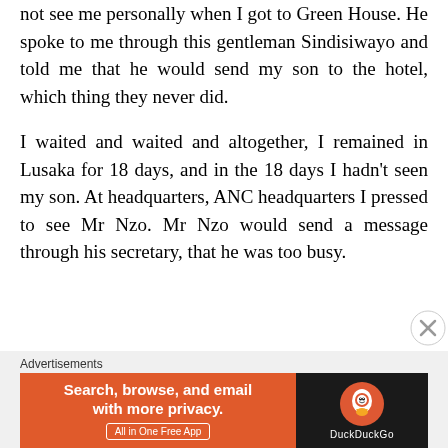not see me personally when I got to Green House. He spoke to me through this gentleman Sindisiwayo and told me that he would send my son to the hotel, which thing they never did.
I waited and waited and altogether, I remained in Lusaka for 18 days, and in the 18 days I hadn't seen my son. At headquarters, ANC headquarters I pressed to see Mr Nzo. Mr Nzo would send a message through his secretary, that he was too busy.
Advertisements
[Figure (other): DuckDuckGo advertisement banner with orange left panel reading 'Search, browse, and email with more privacy. All in One Free App' and dark right panel with DuckDuckGo logo and name.]